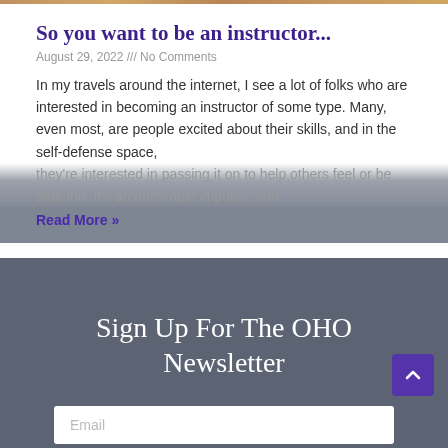[Figure (photo): Thin horizontal strip of a photo at the very top of the page]
So you want to be an instructor...
August 29, 2022 /// No Comments
In my travels around the internet, I see a lot of folks who are interested in becoming an instructor of some type. Many, even most, are people excited about their skills, and in the self-defense space, they’re interested in passing it on to help others feel or be safe too. It’s an admirable impulse, and
Read More »
Sign Up For The OHO Newsletter
Email